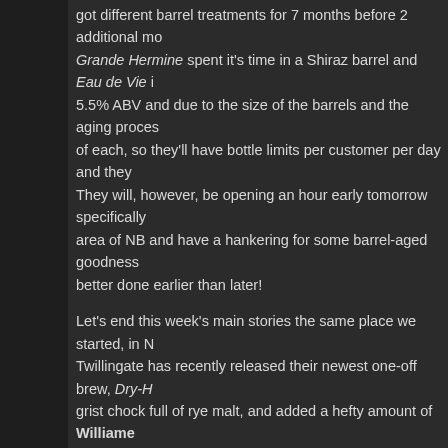got different barrel treatments for 7 months before 2 additional mo... Grande Hermine spent it's time in a Shiraz barrel and Eau de Vie ... 5.5% ABV and due to the size of the barrels and the aging proces... of each, so they'll have bottle limits per customer per day and they... They will, however, be opening an hour early tomorrow specifically... area of NB and have a hankering for some barrel-aged goodness... better done earlier than later!
Let's end this week's main stories the same place we started, in N... Twillingate has recently released their newest one-off brew, Dry-H... grist chock full of rye malt, and added a hefty amount of Willamet... the boil. Fermented with the brewery's house English yeast, the fi... Willamette and EKG, before packaging. At 6.3% ABV, it's tasting "... spice, earth and honey". Available right now at the brewery in 473...
Well, the week got away from us (Chris!), and we didn't get to put... that we had hoped to. For those in Nova Scotia, please check out... brewery reopenings and we aim to add our own deep dive into all... you want to tell us if we've missed anything (y'know, like the entir... us an email! A few notable spots that popped up on our radar:
Newfoundland: